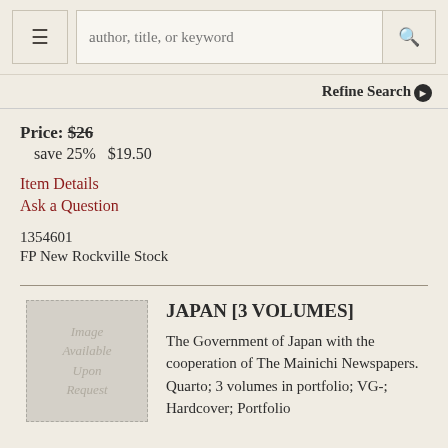author, title, or keyword
Refine Search
Price: $26
save 25%   $19.50
Item Details
Ask a Question
1354601
FP New Rockville Stock
JAPAN [3 VOLUMES]
The Government of Japan with the cooperation of The Mainichi Newspapers. Quarto; 3 volumes in portfolio; VG-; Hardcover; Portfolio